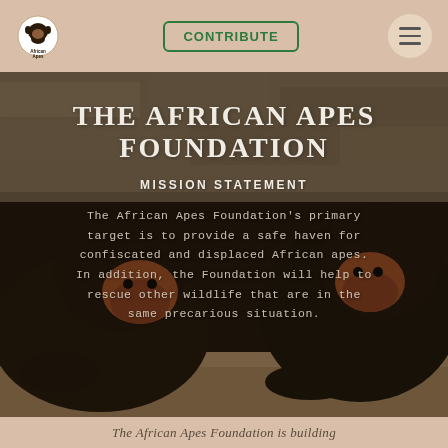African Apes | CONTRIBUTE | [menu]
[Figure (photo): Two young chimpanzees lying close together on a sandy ground, photographed up close, dark fur, with text overlaid on the image.]
THE AFRICAN APES FOUNDATION
MISSION STATEMENT
The African Apes Foundation's primary target is to provide a safe haven for confiscated and displaced African apes. In addition, the Foundation will help to rescue other wildlife that are in the same precarious situation.
The African Apes Foundation is building